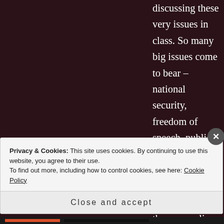discussing these very issues in class. So many big issues come to bear – national security, freedom of speech, public interest, privacy, civil liberties. It's my estimation that the answer lies somewhere in the heady mix of those competing elements. Quite which one is foregrounded is likely driven by political persuasion.
★ Like
Privacy & Cookies: This site uses cookies. By continuing to use this website, you agree to their use. To find out more, including how to control cookies, see here: Cookie Policy
Close and accept